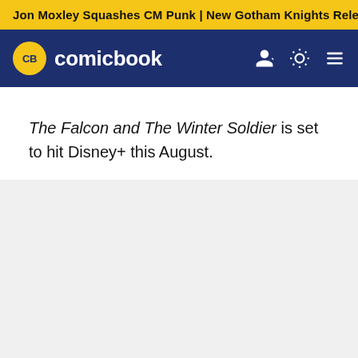Jon Moxley Squashes CM Punk | New Gotham Knights Releas…
[Figure (logo): ComicBook.com logo with yellow CB badge and white text on dark navy navigation bar with user icon, theme toggle, and hamburger menu icons]
The Falcon and The Winter Soldier is set to hit Disney+ this August.